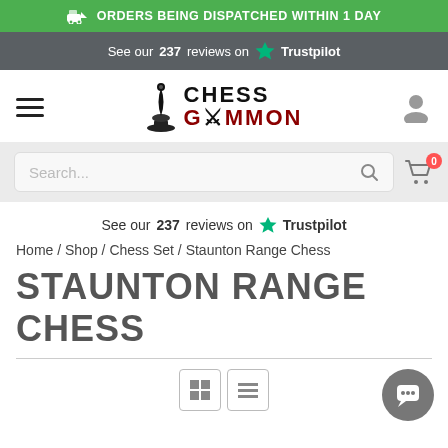ORDERS BEING DISPATCHED WITHIN 1 DAY
See our 237 reviews on Trustpilot
[Figure (logo): Chess Gammon logo with chess piece icon, CHESS in black and GAMMON in dark red]
Search...
See our 237 reviews on Trustpilot
Home / Shop / Chess Set / Staunton Range Chess
STAUNTON RANGE CHESS